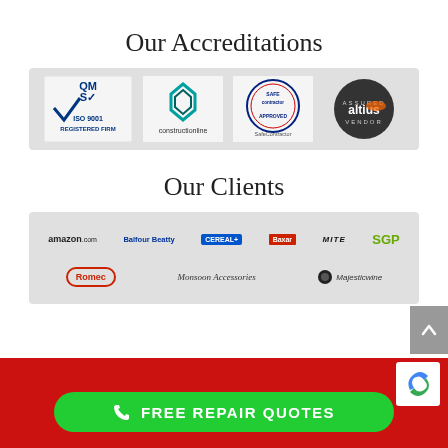Our Accreditations
[Figure (logo): Row of accreditation logos: ISO 9001 QMS Registered Firm, Constructionline, SafeContractor Approved, Altius Assured Vendor]
Our Clients
[Figure (logo): Row of client logos: amazon.com, Balfour Beatty, CEREAL?, Baxar, MITE, SGP, Romec, Monsoon Accessories, Majestic Wine]
FREE REPAIR QUOTES